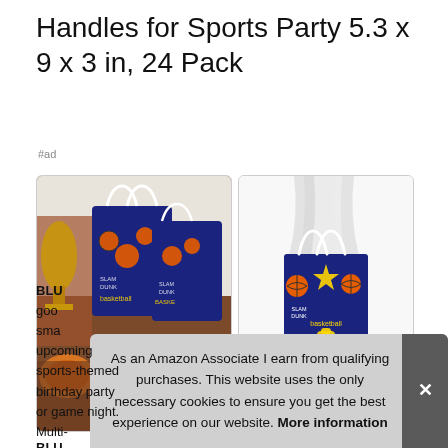Handles for Sports Party 5.3 x 9 x 3 in, 24 Pack
#ad
[Figure (photo): Two blue basketball-themed gift bags with rope handles and orange basketball decorations, shown in a party scene with a trophy and candy]
[Figure (photo): Single blue basketball-themed gift bag with white tissue paper sticking out, shown on white background]
BLU
goo
sma
upcoming sports-themed birthday party or game night. Multi-
As an Amazon Associate I earn from qualifying purchases. This website uses the only necessary cookies to ensure you get the best experience on our website. More information